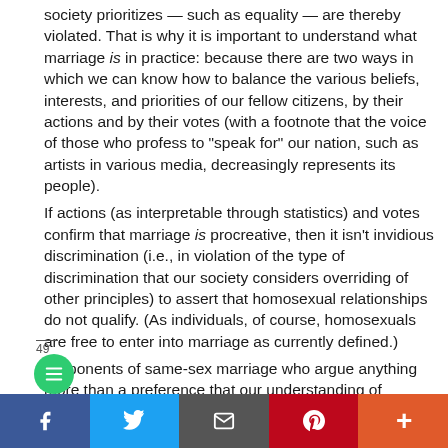society prioritizes — such as equality — are thereby violated. That is why it is important to understand what marriage is in practice: because there are two ways in which we can know how to balance the various beliefs, interests, and priorities of our fellow citizens, by their actions and by their votes (with a footnote that the voice of those who profess to "speak for" our nation, such as artists in various media, decreasingly represents its people).
If actions (as interpretable through statistics) and votes confirm that marriage is procreative, then it isn't invidious discrimination (i.e., in violation of the type of discrimination that our society considers overriding of other principles) to assert that homosexual relationships do not qualify. (As individuals, of course, homosexuals are free to enter into marriage as currently defined.)
Proponents of same-sex marriage who argue anything more than a preference that our understanding of marriage ought to change are claiming a supernormative definition — a moral one — and are thereby promoting essentially a religious belief. The irony is that I have no problem with their seeking to have that [established in the law, so not to object from
49
f  🐦  ✉  p  +